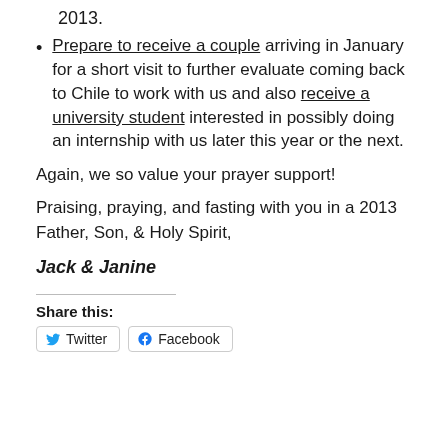2013.
Prepare to receive a couple arriving in January for a short visit to further evaluate coming back to Chile to work with us and also receive a university student interested in possibly doing an internship with us later this year or the next.
Again, we so value your prayer support!
Praising, praying, and fasting with you in a 2013 Father, Son, & Holy Spirit,
Jack & Janine
Share this:
Twitter  Facebook